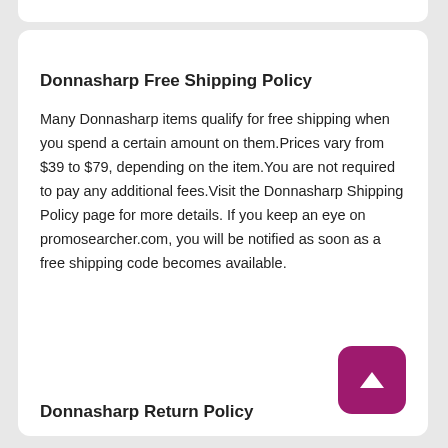Donnasharp Free Shipping Policy
Many Donnasharp items qualify for free shipping when you spend a certain amount on them.Prices vary from $39 to $79, depending on the item.You are not required to pay any additional fees.Visit the Donnasharp Shipping Policy page for more details. If you keep an eye on promosearcher.com, you will be notified as soon as a free shipping code becomes available.
Donnasharp Return Policy